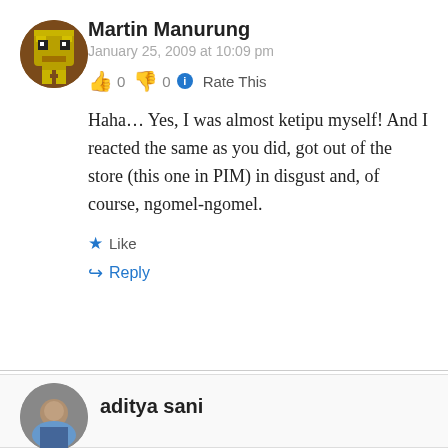[Figure (illustration): Circular avatar with pixel-art style character on brown/dark background]
Martin Manurung
January 25, 2009 at 10:09 pm
👍 0 👎 0 ℹ Rate This
Haha… Yes, I was almost ketipu myself! And I reacted the same as you did, got out of the store (this one in PIM) in disgust and, of course, ngomel-ngomel.
★ Like
↪ Reply
[Figure (photo): Circular avatar photo of aditya sani]
aditya sani